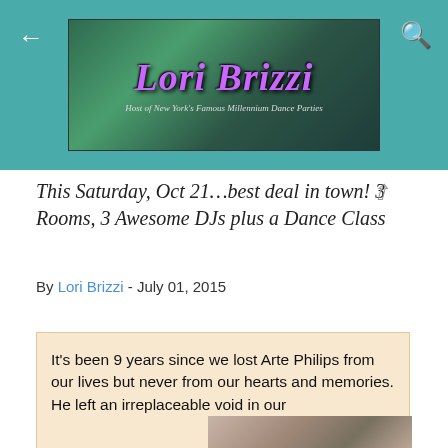[Figure (screenshot): Lori Brizzi blog header banner with teal background, back arrow, search icon, and decorative banner reading 'Lori Brizzi - Host of New York's Famous Millennium Dance Parties']
This Saturday, Oct 21…best deal in town! 3 Rooms, 3 Awesome DJs plus a Dance Class
By Lori Brizzi - July 01, 2015
It's been 9 years since we lost Arte Philips from our lives but never from our hearts and memories. He left an irreplaceable void in our
[Figure (photo): Photo of a man wearing a white hat, partially visible at bottom right]